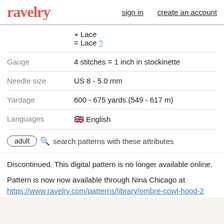ravelry  sign in  create an account
|  |  |
| --- | --- |
|  | + Lace
= Lace ? |
| Gauge | 4 stitches = 1 inch in stockinette |
| Needle size | US 8 - 5.0 mm |
| Yardage | 600 - 675 yards (549 - 617 m) |
| Languages | 🇬🇧 English |
adult
🔍 search patterns with these attributes
Discontinued. This digital pattern is no longer available online.
Pattern is now now available through Nina Chicago at https://www.ravelry.com/patterns/library/ombre-cowl-hood-2